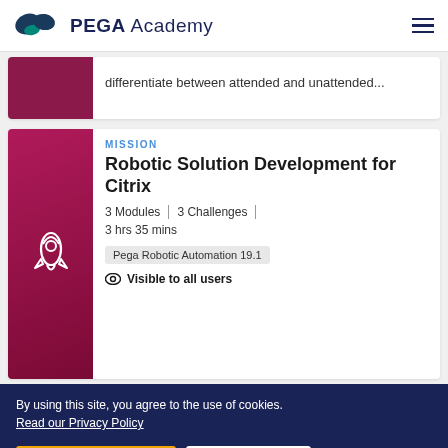PEGA Academy
differentiate between attended and unattended...
MISSION
Robotic Solution Development for Citrix
3 Modules | 3 Challenges | 3 hrs 35 mins
Pega Robotic Automation 19.1
Visible to all users
By using this site, you agree to the use of cookies. Read our Privacy Policy
Accept and continue
About cookies